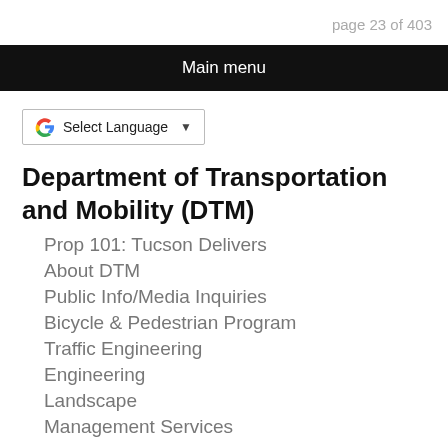page 23 of 403
Main menu
[Figure (other): Google Translate language selector widget with 'Select Language' text and dropdown arrow]
Department of Transportation and Mobility (DTM)
Prop 101: Tucson Delivers
About DTM
Public Info/Media Inquiries
Bicycle & Pedestrian Program
Traffic Engineering
Engineering
Landscape
Management Services